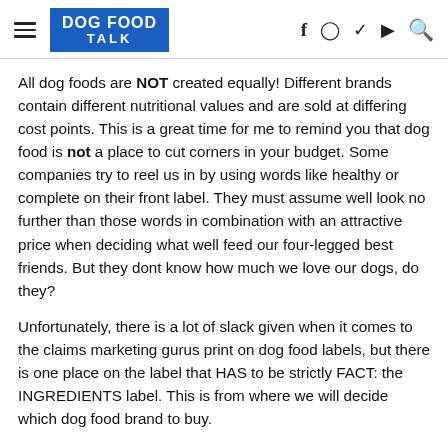DOG FOOD TALK
All dog foods are NOT created equally! Different brands contain different nutritional values and are sold at differing cost points. This is a great time for me to remind you that dog food is not a place to cut corners in your budget. Some companies try to reel us in by using words like healthy or complete on their front label. They must assume well look no further than those words in combination with an attractive price when deciding what well feed our four-legged best friends. But they dont know how much we love our dogs, do they?
Unfortunately, there is a lot of slack given when it comes to the claims marketing gurus print on dog food labels, but there is one place on the label that HAS to be strictly FACT: the INGREDIENTS label. This is from where we will decide which dog food brand to buy.